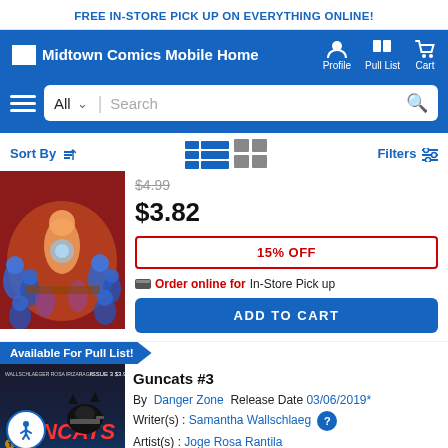FREE IN-STORE PICK UP ON EVERYTHING ONLINE!
[Figure (screenshot): Midtown Comics mobile website header with navigation icons for Profile, Pull List, and Cart]
[Figure (screenshot): Search bar with All dropdown, Search placeholder, and magnifying glass icon]
Sort By | Filters
[Figure (photo): Comic book cover art showing colorful characters with blue alien-like figures]
$4.99 (strikethrough)
$3.82
15% OFF
Order online for In-Store Pick up
ADD TO CART
Available For Pull List!
[Figure (photo): Guncats #3 comic cover with dark background and cat/gun imagery]
Guncats #3
By Danger Zone Release Date 03/06/2019*
Writer(s) : Samantha Wallschlaeg
Artist(s) : Joge Rosa Rantila